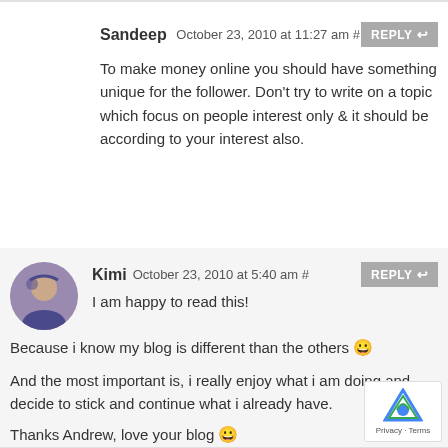Sandeep October 23, 2010 at 11:27 am #
To make money online you should have something unique for the follower. Don't try to write on a topic which focus on people interest only & it should be according to your interest also.
Kimi October 23, 2010 at 5:40 am #
I am happy to read this!
Because i know my blog is different than the others 😀
And the most important is, i really enjoy what i am doing and decide to stick and continue what i already have.
Thanks Andrew, love your blog 😀